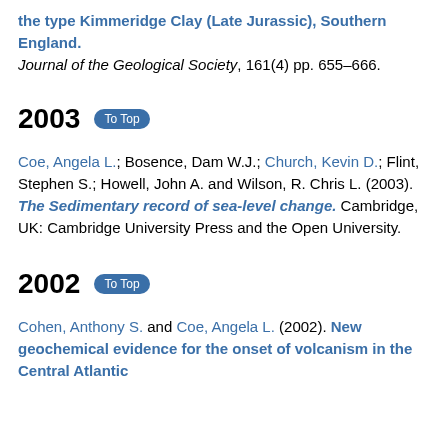the type Kimmeridge Clay (Late Jurassic), Southern England. Journal of the Geological Society, 161(4) pp. 655–666.
2003
Coe, Angela L.; Bosence, Dam W.J.; Church, Kevin D.; Flint, Stephen S.; Howell, John A. and Wilson, R. Chris L. (2003). The Sedimentary record of sea-level change. Cambridge, UK: Cambridge University Press and the Open University.
2002
Cohen, Anthony S. and Coe, Angela L. (2002). New geochemical evidence for the onset of volcanism in the Central Atlantic